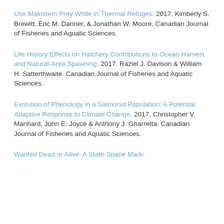Use Mainstem Prey While in Thermal Refuges. 2017. Kimberly S. Brewitt, Eric M. Danner, & Jonathan W. Moore. Canadian Journal of Fisheries and Aquatic Sciences.
Life History Effects on Hatchery Contributions to Ocean Harvest and Natural-Area Spawning. 2017. Raziel J. Davison & William H. Satterthwaite. Canadian Journal of Fisheries and Aquatic Sciences.
Evolution of Phenology in a Salmonid Population: A Potential Adaptive Response to Climate Change. 2017. Christopher V. Manhard, John E. Joyce & Anthony J. Gharretta. Canadian Journal of Fisheries and Aquatic Sciences.
Wanted Dead or Alive: A State-Space Mark-Recapture...